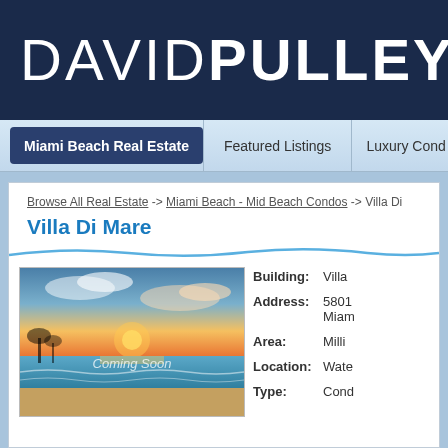DAVID PULLEY
Miami Beach Real Estate | Featured Listings | Luxury Condo
Browse All Real Estate -> Miami Beach - Mid Beach Condos -> Villa Di Mare
Villa Di Mare
[Figure (photo): Beach sunset photo with Coming Soon overlay text]
Building: Villa
Address: 5801 Miami
Area: Milli
Location: Wate
Type: Cond